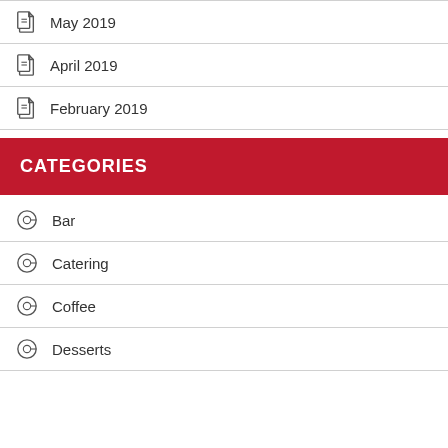May 2019
April 2019
February 2019
CATEGORIES
Bar
Catering
Coffee
Desserts